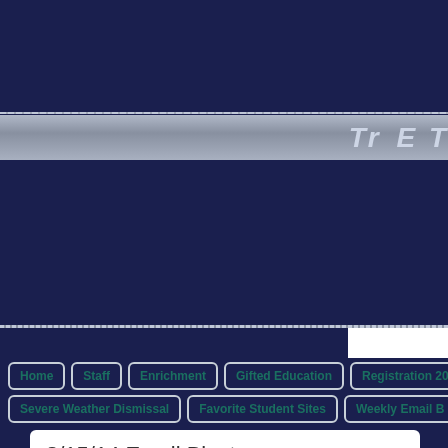[Figure (screenshot): School website header with dark navy background, silver gradient banner bar with partial text visible]
Tr... T...
Home
Staff
Enrichment
Gifted Education
Registration 2017
Severe Weather Dismissal
Favorite Student Sites
Weekly Email B...
8/15/14 Email Blast